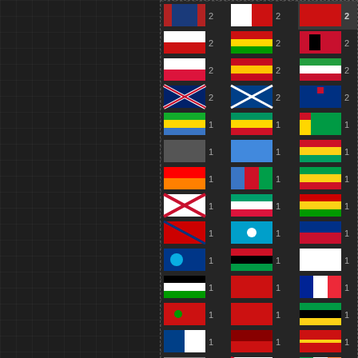[Figure (screenshot): A dark-themed website interface showing a grid of country flags, each accompanied by a number (mostly 1 or 2). The flags are arranged in 3 columns and many rows. One flag entry at the top right is highlighted with a dark background box showing the number 2. The left portion of the page shows a dark grid-patterned background panel.]
Advertisement